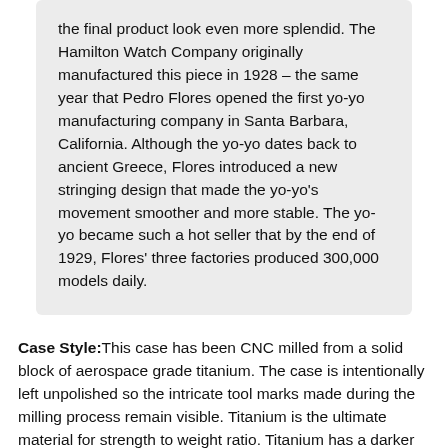the final product look even more splendid. The Hamilton Watch Company originally manufactured this piece in 1928 – the same year that Pedro Flores opened the first yo-yo manufacturing company in Santa Barbara, California. Although the yo-yo dates back to ancient Greece, Flores introduced a new stringing design that made the yo-yo's movement smoother and more stable. The yo-yo became such a hot seller that by the end of 1929, Flores' three factories produced 300,000 models daily.
Case Style: This case has been CNC milled from a solid block of aerospace grade titanium. The case is intentionally left unpolished so the intricate tool marks made during the milling process remain visible. Titanium is the ultimate material for strength to weight ratio. Titanium has a darker look than steel, and due to its low thermal conductivity, feels warm to the touch. These characteristics create an enduring, highly wearable, distinctive piece.